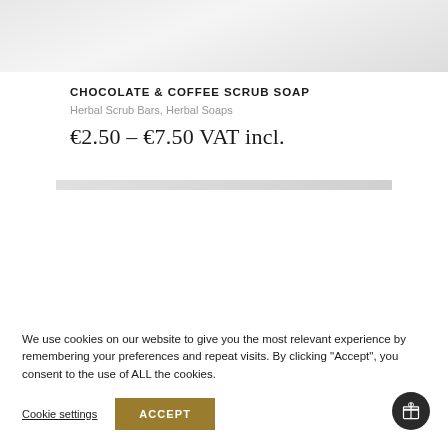[Figure (photo): Partial product image showing a light grey/white fabric or soap texture background, cropped at top]
CHOCOLATE & COFFEE SCRUB SOAP
Herbal Scrub Bars, Herbal Soaps
€2.50 – €7.50 VAT incl.
[Figure (photo): Partial second product image strip, cropped, light grey]
We use cookies on our website to give you the most relevant experience by remembering your preferences and repeat visits. By clicking "Accept", you consent to the use of ALL the cookies.
Cookie settings
ACCEPT